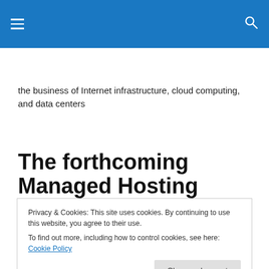Navigation menu with hamburger icon and search icon
the business of Internet infrastructure, cloud computing, and data centers
The forthcoming Managed Hosting Magic Quadrant, 2013
Privacy & Cookies: This site uses cookies. By continuing to use this website, you agree to their use. To find out more, including how to control cookies, see here: Cookie Policy
Close and accept
Magic Quadrant for Managed Hosting that was published